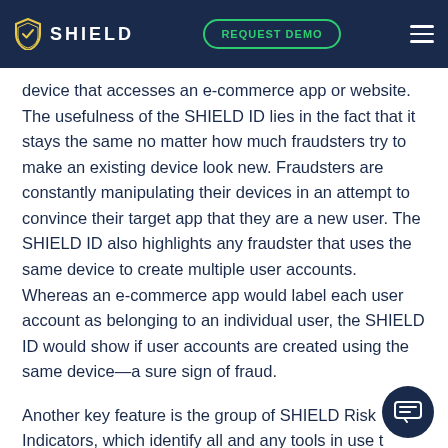SHIELD | REQUEST DEMO
device that accesses an e-commerce app or website. The usefulness of the SHIELD ID lies in the fact that it stays the same no matter how much fraudsters try to make an existing device look new. Fraudsters are constantly manipulating their devices in an attempt to convince their target app that they are a new user. The SHIELD ID also highlights any fraudster that uses the same device to create multiple user accounts. Whereas an e-commerce app would label each user account as belonging to an individual user, the SHIELD ID would show if user accounts are created using the same device—a sure sign of fraud.
Another key feature is the group of SHIELD Risk Indicators, which identify all and any tools in use t…